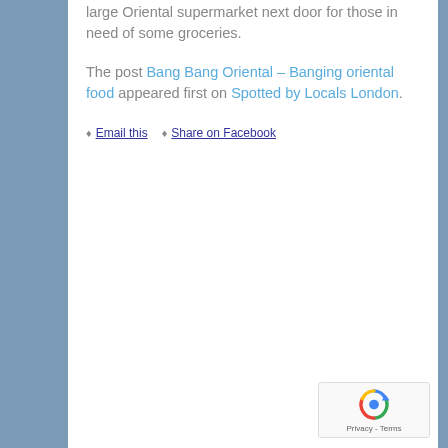large Oriental supermarket next door for those in need of some groceries.
The post Bang Bang Oriental – Banging oriental food appeared first on Spotted by Locals London.
Email this
Share on Facebook
[Figure (logo): reCAPTCHA badge with rotating arrows icon and Privacy - Terms text]